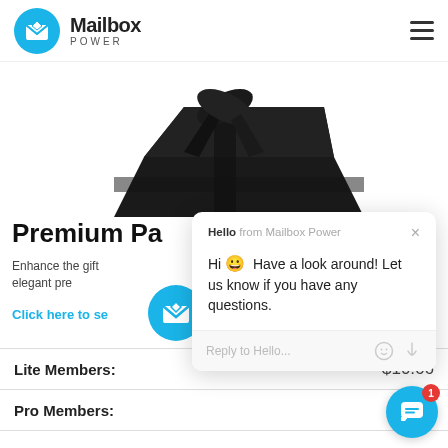Mailbox Power
[Figure (photo): Dark/black premium packaging box with ribbon, partially visible at top of page]
Premium Pa...
Enhance the gift... elegant pre...
Click here to se...
| Member Type | Price |
| --- | --- |
| Lite Members: | $10.66 |
| Pro Members: | $8.0... |
[Figure (screenshot): Chat popup overlay from Mailbox Power: 'Hello from Mailbox Power. Hi 😀 Have a look around! Let us know if you have any questions. Reply to Hello...']
[Figure (other): Blue circular chat support button with white message icon and red badge showing number 1]